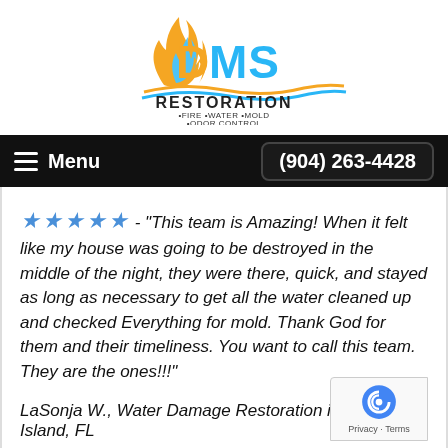[Figure (logo): DMS Restoration logo with flame, water wave, and text: RESTORATION • FIRE • WATER • MOLD • ODOR CONTROL]
Menu  (904) 263-4428
★★★★★ - "This team is Amazing! When it felt like my house was going to be destroyed in the middle of the night, they were there, quick, and stayed as long as necessary to get all the water cleaned up and checked Everything for mold. Thank God for them and their timeliness. You want to call this team. They are the ones!!!"
LaSonja W., Water Damage Restoration in Fleming Island, FL